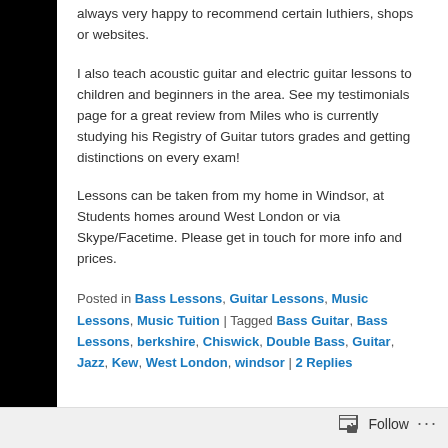always very happy to recommend certain luthiers, shops or websites.
I also teach acoustic guitar and electric guitar lessons to children and beginners in the area. See my testimonials page for a great review from Miles who is currently studying his Registry of Guitar tutors grades and getting distinctions on every exam!
Lessons can be taken from my home in Windsor, at Students homes around West London or via Skype/Facetime. Please get in touch for more info and prices.
Posted in Bass Lessons, Guitar Lessons, Music Lessons, Music Tuition | Tagged Bass Guitar, Bass Lessons, berkshire, Chiswick, Double Bass, Guitar, Jazz, Kew, West London, windsor | 2 Replies
Follow ...